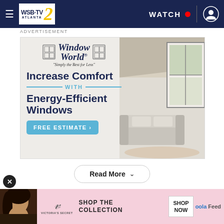WSB-TV 2 Atlanta | WATCH
ADVERTISEMENT
[Figure (illustration): Window World advertisement: logo with windows graphic, tagline 'Simply the Best for Less', headline 'Increase Comfort WITH Energy-Efficient Windows', FREE ESTIMATE button, photo of bright living room with windows on right]
Read More
[Figure (photo): Victoria's Secret bottom banner ad: model photo on left, VS logo, 'SHOP THE COLLECTION' text, 'SHOP NOW' button, 'oola Feed' text on right]